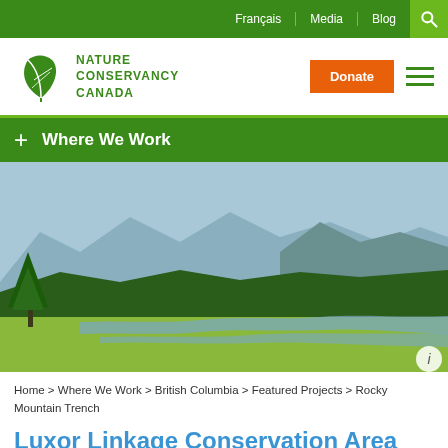Français | Media | Blog
[Figure (logo): Nature Conservancy Canada leaf logo with text NATURE CONSERVANCY CANADA, Donate button, hamburger menu]
+ Where We Work
[Figure (photo): Aerial view of Rocky Mountain Trench showing wetland meadow, river, conifer forest, and mountains in background]
Home > Where We Work > British Columbia > Featured Projects > Rocky Mountain Trench
Luxor Linkage Conservation Area
[Figure (photo): Close-up photo of wildlife (partially visible at bottom of page)]